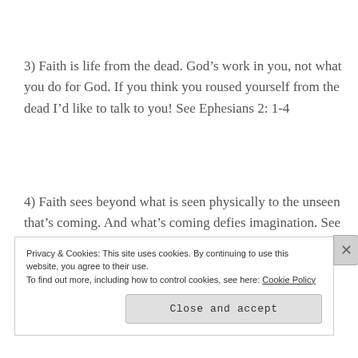3) Faith is life from the dead. God’s work in you, not what you do for God. If you think you roused yourself from the dead I’d like to talk to you! See Ephesians 2:1-4
4) Faith sees beyond what is seen physically to the unseen that’s coming. And what’s coming defies imagination. See Hebrews 11:1
Privacy & Cookies: This site uses cookies. By continuing to use this website, you agree to their use. To find out more, including how to control cookies, see here: Cookie Policy